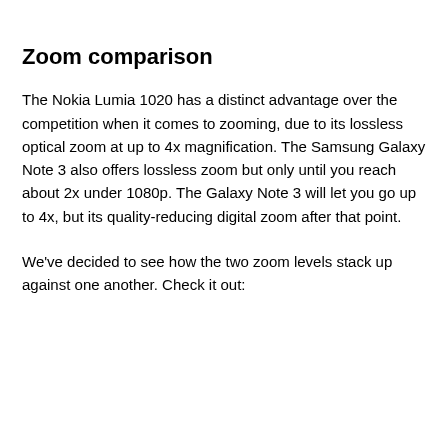Zoom comparison
The Nokia Lumia 1020 has a distinct advantage over the competition when it comes to zooming, due to its lossless optical zoom at up to 4x magnification. The Samsung Galaxy Note 3 also offers lossless zoom but only until you reach about 2x under 1080p. The Galaxy Note 3 will let you go up to 4x, but its quality-reducing digital zoom after that point.
We've decided to see how the two zoom levels stack up against one another. Check it out: